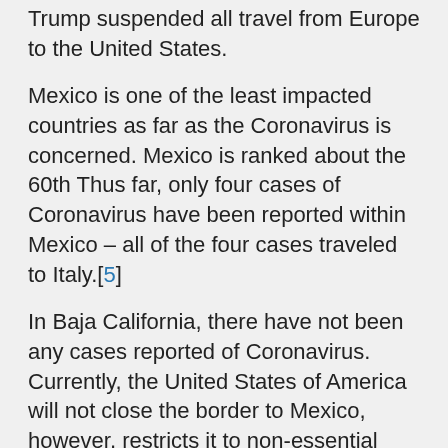Trump suspended all travel from Europe to the United States.
Mexico is one of the least impacted countries as far as the Coronavirus is concerned. Mexico is ranked about the 60th Thus far, only four cases of Coronavirus have been reported within Mexico – all of the four cases traveled to Italy.[5]
In Baja California, there have not been any cases reported of Coronavirus. Currently, the United States of America will not close the border to Mexico, however, restricts it to non-essential travels.
Preventative Measures by